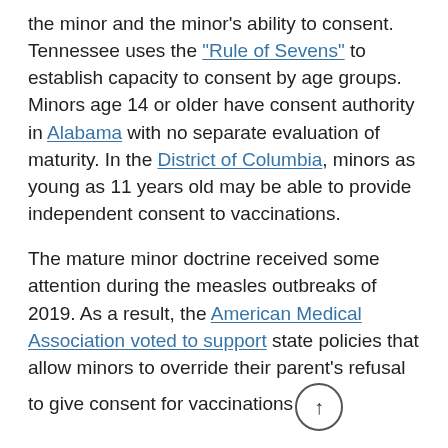the minor and the minor's ability to consent. Tennessee uses the "Rule of Sevens" to establish capacity to consent by age groups. Minors age 14 or older have consent authority in Alabama with no separate evaluation of maturity. In the District of Columbia, minors as young as 11 years old may be able to provide independent consent to vaccinations.
The mature minor doctrine received some attention during the measles outbreaks of 2019. As a result, the American Medical Association voted to support state policies that allow minors to override their parent's refusal to give consent for vaccinations.
As of May 5, the Centers for Disease Control and Prevention (CDC) reported 1.5% of the U.S.